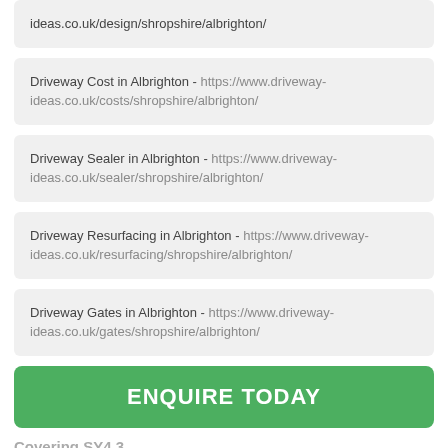ideas.co.uk/design/shropshire/albrighton/
Driveway Cost in Albrighton - https://www.driveway-ideas.co.uk/costs/shropshire/albrighton/
Driveway Sealer in Albrighton - https://www.driveway-ideas.co.uk/sealer/shropshire/albrighton/
Driveway Resurfacing in Albrighton - https://www.driveway-ideas.co.uk/resurfacing/shropshire/albrighton/
Driveway Gates in Albrighton - https://www.driveway-ideas.co.uk/gates/shropshire/albrighton/
ENQUIRE TODAY
Covering SY4 3